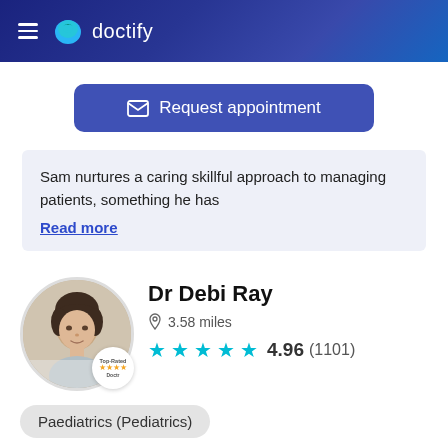doctify
Request appointment
Sam nurtures a caring skillful approach to managing patients, something he has Read more
Dr Debi Ray
3.58 miles
4.96 (1101)
Paediatrics (Pediatrics)
Recommended by 10 specialists